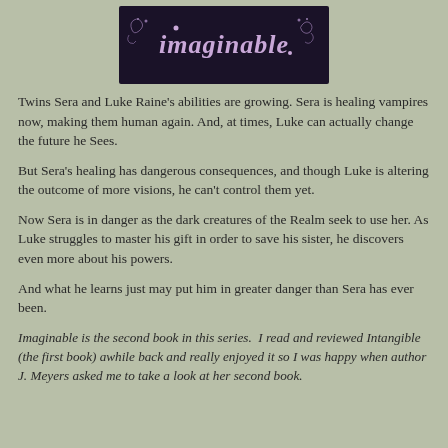[Figure (logo): Decorative stylized logo reading 'imaginable' in purple/lavender cursive lettering with swirls on a dark navy/black background]
Twins Sera and Luke Raine's abilities are growing. Sera is healing vampires now, making them human again. And, at times, Luke can actually change the future he Sees.
But Sera's healing has dangerous consequences, and though Luke is altering the outcome of more visions, he can't control them yet.
Now Sera is in danger as the dark creatures of the Realm seek to use her. As Luke struggles to master his gift in order to save his sister, he discovers even more about his powers.
And what he learns just may put him in greater danger than Sera has ever been.
Imaginable is the second book in this series.  I read and reviewed Intangible (the first book) awhile back and really enjoyed it so I was happy when author J. Meyers asked me to take a look at her second book.